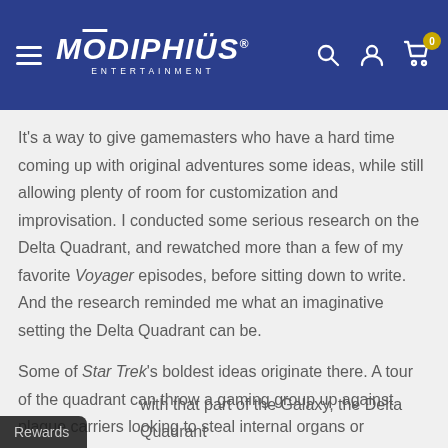Modiphius Entertainment
It's a way to give gamemasters who have a hard time coming up with original adventures some ideas, while still allowing plenty of room for customization and improvisation. I conducted some serious research on the Delta Quadrant, and rewatched more than a few of my favorite Voyager episodes, before sitting down to write.  And the research reminded me what an imaginative setting the Delta Quadrant can be.
Some of Star Trek's boldest ideas originate there. A tour of the quadrant can throw a gaming group up against plague carriers looking to steal internal organs or timeships that rewrite history in moments. While games set in or near Federation space usually have to conform to the strictures with that part of the Galaxy, the Delta Quadrant